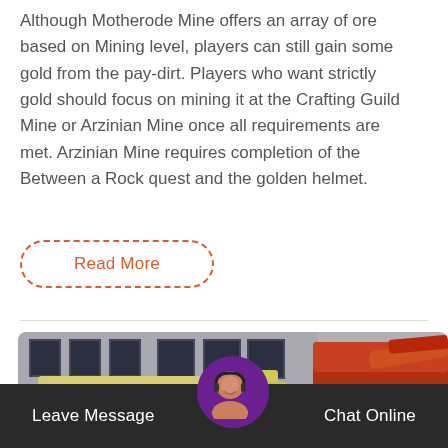Although Motherode Mine offers an array of ore based on Mining level, players can still gain some gold from the pay-dirt. Players who want strictly gold should focus on mining it at the Crafting Guild Mine or Arzinian Mine once all requirements are met. Arzinian Mine requires completion of the Between a Rock quest and the golden helmet.
Read More
[Figure (photo): Industrial mining machinery — large beige/yellow crushers or mills in front of a building, with orange/red heavy equipment on the right side]
Leave Message
Chat Online